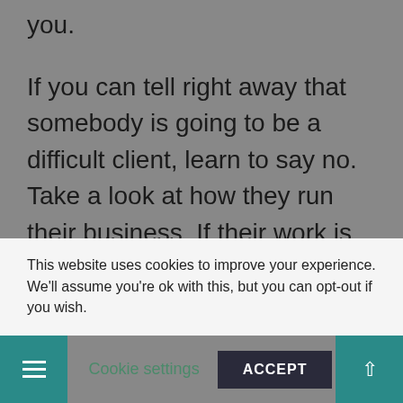you.
If you can tell right away that somebody is going to be a difficult client, learn to say no. Take a look at how they run their business. If their work is sloppy, or low quality, why would you want to work with them? No Pinterest strategy is going to work if their content sucks.
When I have a new potential client, the first thing I do is check them out. Take a look at
This website uses cookies to improve your experience. We'll assume you're ok with this, but you can opt-out if you wish.
Cookie settings
ACCEPT